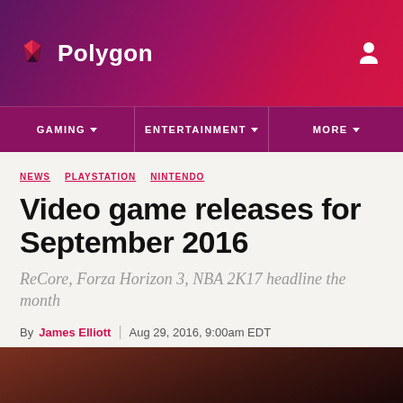Polygon
GAMING | ENTERTAINMENT | MORE
NEWS  PLAYSTATION  NINTENDO
Video game releases for September 2016
ReCore, Forza Horizon 3, NBA 2K17 headline the month
By James Elliott | Aug 29, 2016, 9:00am EDT
[Figure (photo): Partial image at bottom of article page, appears to be a dark-toned photo related to the article content]